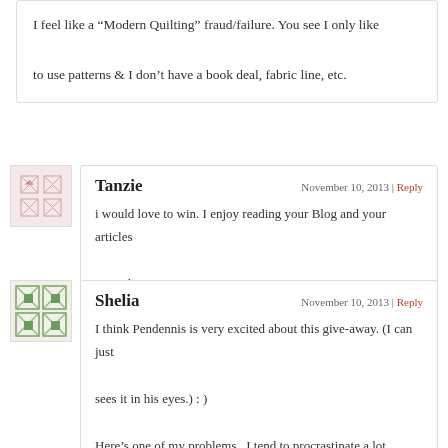I feel like a “Modern Quilting” fraud/failure. You see I only like to use patterns & I don’t have a book deal, fabric line, etc.
Tanzie
November 10, 2013 | Reply
i would love to win. I enjoy reading your Blog and your articles in Quilty,
Shelia
November 10, 2013 | Reply
I think Pendennis is very excited about this give-away. (I can just sees it in his eyes.) : )
Here’s one of my problems...I tend to procrastinate a lot. Things I want to do...things I need to do...how can I get myself to stop putting things off?
Thanks Again Tanzie,